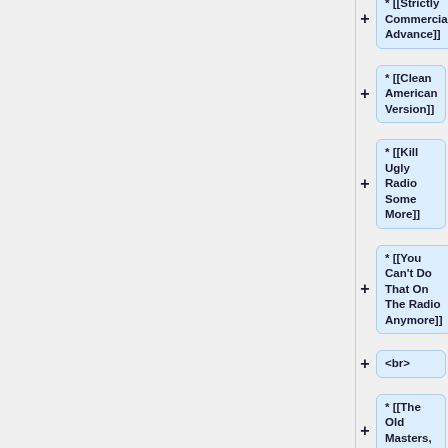* [[Strictly Commercial Advance]]
* [[Clean American Version]]
* [[Kill Ugly Radio Some More]]
* [[You Can't Do That On The Radio Anymore]]
<br>
* [[The Old Masters, Box III]]
<br>